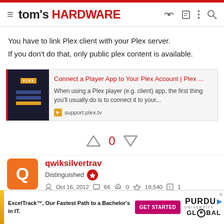tom's HARDWARE
You have to link Plex client with your Plex server.
If you don't do that, only public plex content is available.
[Figure (screenshot): Link card for 'Connect a Player App to Your Plex Account | Plex ...' from support.plex.tv with Plex dark-themed thumbnail image]
0
qwiksilvertrav
Distinguished
Oct 16, 2012  66  0  18,540  1
[Figure (other): Advertisement banner for Purdue University Global ExcelTrack program with GET STARTED button]